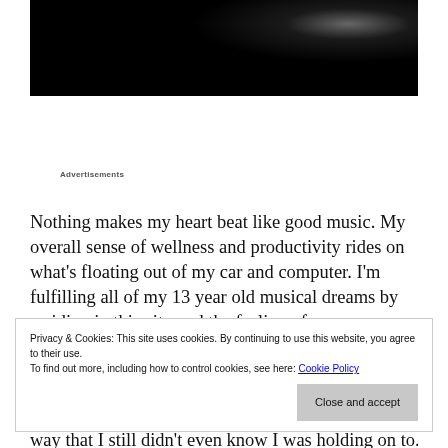[Figure (photo): Dark black and white photo, mostly black with a subtle grey gradient suggesting a shape in the upper right corner]
Advertisements
Nothing makes my heart beat like good music. My overall sense of wellness and productivity rides on what's floating out of my car and computer. I'm fulfilling all of my 13 year old musical dreams by residing in this city and the feeling of
Privacy & Cookies: This site uses cookies. By continuing to use this website, you agree to their use.
To find out more, including how to control cookies, see here: Cookie Policy
Close and accept
way that I still didn't even know I was holding on to. I guess